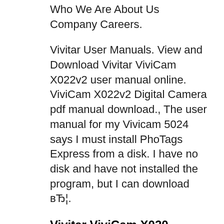Who We Are About Us Company Careers.
Vivitar User Manuals. View and Download Vivitar ViviCam X022v2 user manual online. ViviCam X022v2 Digital Camera pdf manual download., The user manual for my Vivicam 5024 says I must install PhoTags Express from a disk. I have no disk and have not installed the program, but I can download вЂ¦.
Vivitar ViviCam X020 Manuals and User Guides Camera Lens
[Figure (photo): Broken image placeholder with alt text: vivitar vivicam x014n user manual]